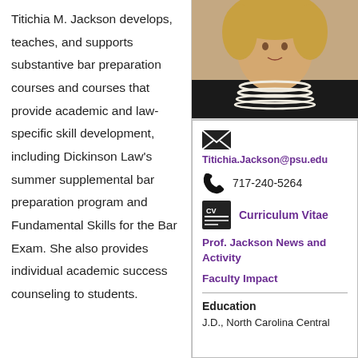Titichia M. Jackson develops, teaches, and supports substantive bar preparation courses and courses that provide academic and law-specific skill development, including Dickinson Law's summer supplemental bar preparation program and Fundamental Skills for the Bar Exam. She also provides individual academic success counseling to students.
[Figure (photo): Portrait photo of Titichia M. Jackson wearing pearl necklaces and a dark top, with blonde curly hair.]
Titichia.Jackson@psu.edu
717-240-5264
Curriculum Vitae
Prof. Jackson News and Activity
Faculty Impact
Education
J.D., North Carolina Central